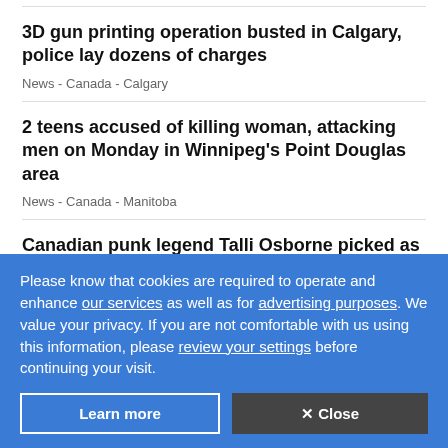3D gun printing operation busted in Calgary, police lay dozens of charges
News  -  Canada  -  Calgary
2 teens accused of killing woman, attacking men on Monday in Winnipeg's Point Douglas area
News  -  Canada  -  Manitoba
Canadian punk legend Talli Osborne picked as face of new Punk Rock Museum in Las Vegas
Cara Nickerson
News - Canada - Hamilton
Please know that cookies are required to operate and enhance our services as well as for advertising purposes. We value your privacy. If you are not comfortable with us using this information, please review your settings before continuing your visit.
Learn more
✕ Close